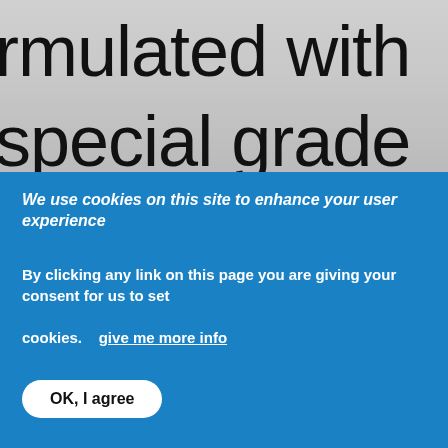[Figure (screenshot): Partial background showing large text 'rmulated with' and 'special grade' and partial third line, on a light grey gradient background, partially obscured by cookie consent banner.]
We use cookies on this site to enhance your user experience
By clicking any link on this page you are giving your consent for us to set cookies.   give me more info
OK, I agree